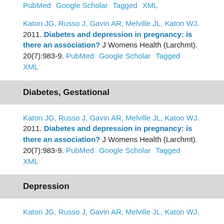PubMed  Google Scholar  Tagged  XML (partial top link row)
Katon JG, Russo J, Gavin AR, Melville JL, Katon WJ. 2011. Diabetes and depression in pregnancy: is there an association? J Womens Health (Larchmt). 20(7):983-9. PubMed  Google Scholar  Tagged  XML
Diabetes, Gestational
Katon JG, Russo J, Gavin AR, Melville JL, Katon WJ. 2011. Diabetes and depression in pregnancy: is there an association? J Womens Health (Larchmt). 20(7):983-9. PubMed  Google Scholar  Tagged  XML
Depression
Katon JG, Russo J, Gavin AR, Melville JL, Katon WJ.